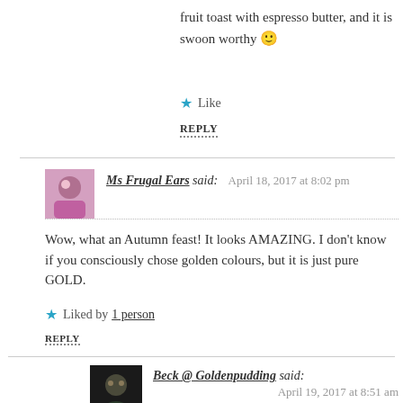fruit toast with espresso butter, and it is swoon worthy 🙂
Like
REPLY
[Figure (photo): Avatar photo of Ms Frugal Ears]
Ms Frugal Ears said: April 18, 2017 at 8:02 pm
Wow, what an Autumn feast! It looks AMAZING. I don't know if you consciously chose golden colours, but it is just pure GOLD.
Liked by 1 person
REPLY
[Figure (photo): Avatar photo of Beck @ Goldenpudding]
Beck @ Goldenpudding said: April 19, 2017 at 8:51 am
How funny Serina! No, I wasn't that coordinated, but now you mention it there is